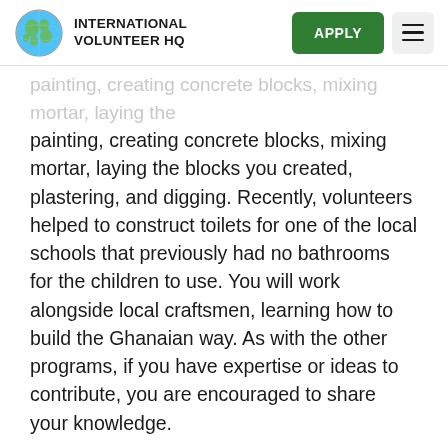INTERNATIONAL VOLUNTEER HQ
painting, creating concrete blocks, mixing mortar, laying the blocks you created, plastering, and digging. Recently, volunteers helped to construct toilets for one of the local schools that previously had no bathrooms for the children to use. You will work alongside local craftsmen, learning how to build the Ghanaian way. As with the other programs, if you have expertise or ideas to contribute, you are encouraged to share your knowledge.